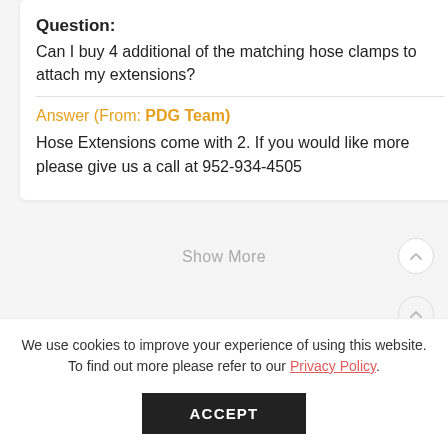Question:
Can I buy 4 additional of the matching hose clamps to attach my extensions?
Answer (From: PDG Team)
Hose Extensions come with 2. If you would like more please give us a call at 952-934-4505
Show More
We use cookies to improve your experience of using this website. To find out more please refer to our Privacy Policy.
ACCEPT